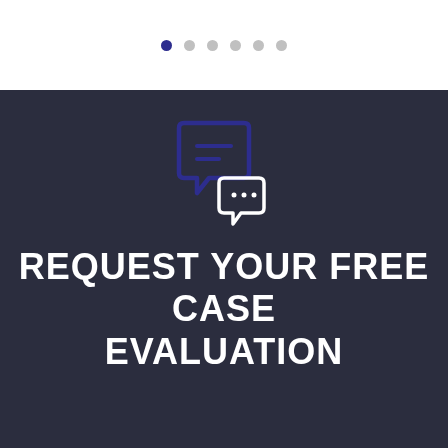[Figure (illustration): Six navigation dots in a row; the first (leftmost) is dark blue and the rest are light grey, indicating a carousel or step indicator.]
[Figure (illustration): Two overlapping speech bubble icons: a larger one in dark blue outline on the left with two horizontal lines inside, and a smaller white outline bubble on the lower right, suggesting conversation/consultation.]
REQUEST YOUR FREE CASE EVALUATION